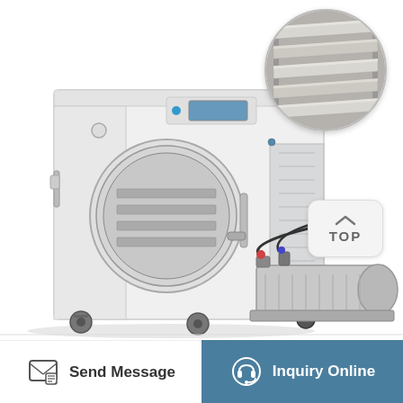[Figure (photo): Industrial freeze dryer machine with circular door showing interior shelving trays, with a vacuum pump at bottom right. A circular inset photo in upper right shows close-up of metal shelving trays. A 'TOP' navigation button appears on the right side.]
Send Message
Inquiry Online